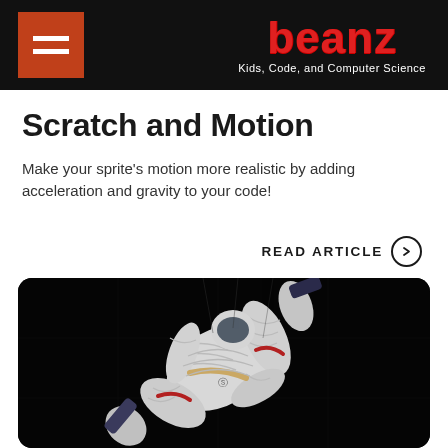beanz — Kids, Code, and Computer Science
Scratch and Motion
Make your sprite's motion more realistic by adding acceleration and gravity to your code!
READ ARTICLE
[Figure (photo): A person in a white puffy space suit / astronaut costume tumbling or floating against a dark background, photographed at an angle.]